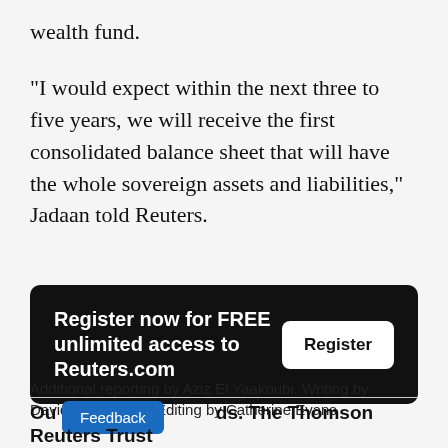wealth fund.
"I would expect within the next three to five years, we will receive the first consolidated balance sheet that will have the whole sovereign assets and liabilities," Jadaan told Reuters.
[Figure (other): Advertisement banner: black background with text 'Register now for FREE unlimited access to Reuters.com' and a white 'Register' button]
Additional reporting by Aziz El Yaakoubi, Writing by Davide Barbuscia, Editing by Catherine Evans
Feedback
Our Standards: The Thomson Reuters Trust